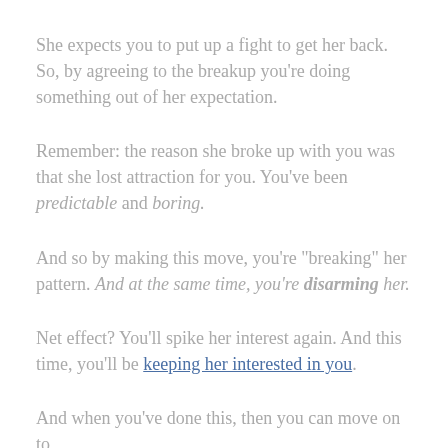She expects you to put up a fight to get her back. So, by agreeing to the breakup you're doing something out of her expectation.
Remember: the reason she broke up with you was that she lost attraction for you. You've been predictable and boring.
And so by making this move, you're "breaking" her pattern. And at the same time, you're disarming her.
Net effect? You'll spike her interest again. And this time, you'll be keeping her interested in you.
And when you've done this, then you can move on to